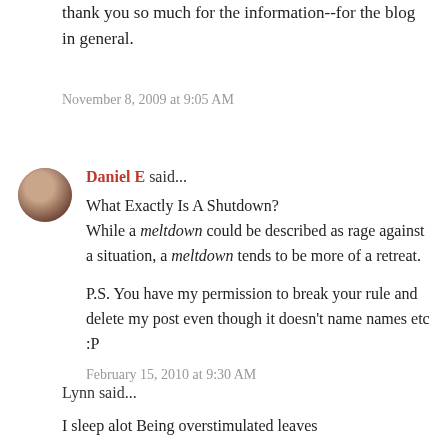thank you so much for the information--for the blog in general.
November 8, 2009 at 9:05 AM
Daniel E said...
What Exactly Is A Shutdown? While a meltdown could be described as rage against a situation, a meltdown tends to be more of a retreat.

P.S. You have my permission to break your rule and delete my post even though it doesn't name names etc :P
February 15, 2010 at 9:30 AM
Lynn said...
I sleep alot Being overstimulated leaves